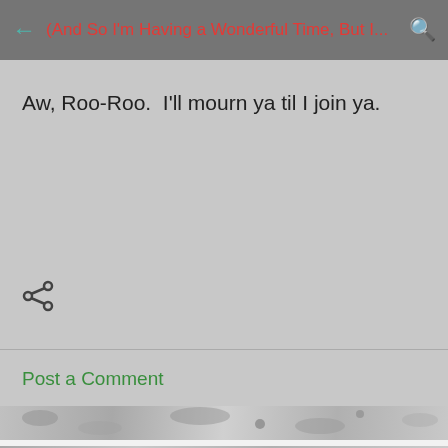(And So I'm Having a Wonderful Time, But I...
Aw, Roo-Roo.  I'll mourn ya til I join ya.
[Figure (other): Share icon (Android share button)]
Post a Comment
[Figure (other): Decorative gravel/stone background image strip]
[Figure (other): Decorative gravel/stone background image strip with Powered by Blogger badge]
Powered by Blogger